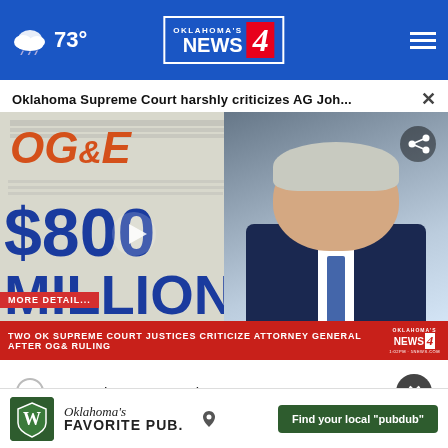73° Oklahoma's News 4
Oklahoma Supreme Court harshly criticizes AG Joh... ×
[Figure (screenshot): News video thumbnail showing OG&E document with '$800 MILLION' text overlay in blue on document background, man in suit on right side, lower-third red bar reading 'TWO OK SUPREME COURT JUSTICES CRITICIZE ATTORNEY GENERAL AFTER OG& RULING' with Oklahoma's News 4 logo]
Somewhat concerned
[Figure (other): Advertisement banner for Oklahoma's Favorite Pub with green logo featuring W letter, script text 'Oklahoma's FAVORITE PUB.' and green button 'Find your local "pubdub"']